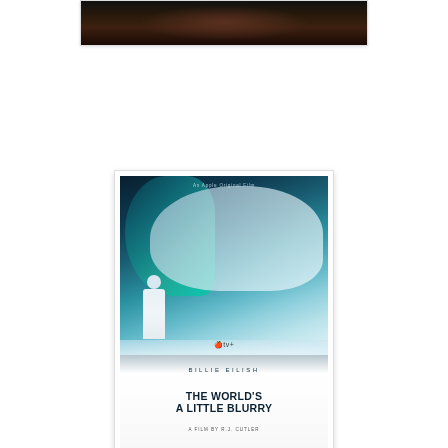[Figure (photo): Top portion of a dark atmospheric image, partially cropped at top of page]
[Figure (photo): Movie poster for 'Billie Eilish: The World's A Little Blurry' - an Apple TV+ Original Film directed by R.J. Cutler, showing Billie Eilish with teal hair singing into a microphone at top and a smaller full-body shot at bottom]
In one particularly noteworthy scene in R.J. Cutler's revelatory documentary "Billie Eilish: The World's a Little Blurry", a roundtable of journalists interview the film's titular wunderkind about her craft. When they comment on the dark undertones of her music, she replies "I'm never feeling happy so why would I write about things I don't know about?"